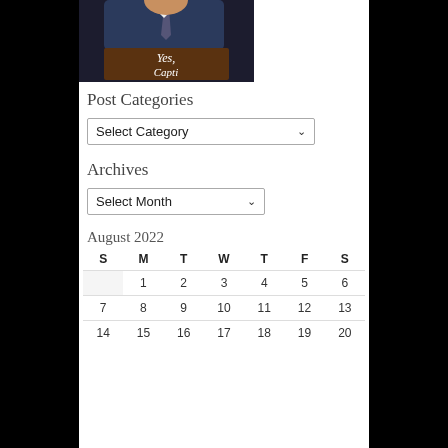[Figure (photo): Person standing at a wooden podium with a sign reading 'Yes,' visible; photo cropped at top showing torso and podium]
Post Categories
[Figure (screenshot): Dropdown select box with placeholder text 'Select Category' and a dropdown arrow]
Archives
[Figure (screenshot): Dropdown select box with placeholder text 'Select Month' and a dropdown arrow]
August 2022
| S | M | T | W | T | F | S |
| --- | --- | --- | --- | --- | --- | --- |
|  | 1 | 2 | 3 | 4 | 5 | 6 |
| 7 | 8 | 9 | 10 | 11 | 12 | 13 |
| 14 | 15 | 16 | 17 | 18 | 19 | 20 |